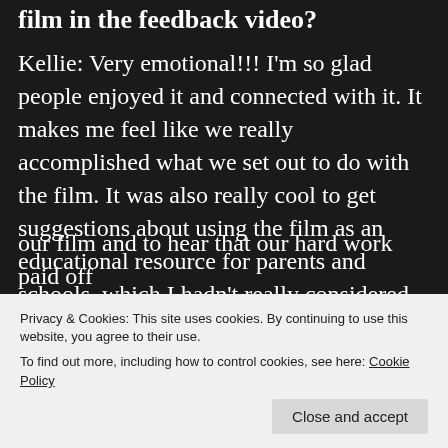watching the filmfest ruling film in the feedback video?
Kellie: Very emotional!!! I'm so glad people enjoyed it and connected with it. It makes me feel like we really accomplished what we set out to do with the film. It was also really cool to get suggestions about using the film as an educational resource for parents and schools, which I hadn't really considered before.
our film and to hear that our hard work paid off
Privacy & Cookies: This site uses cookies. By continuing to use this website, you agree to their use.
To find out more, including how to control cookies, see here: Cookie Policy